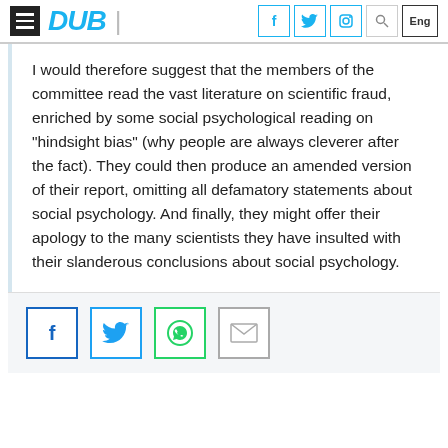DUB
I would therefore suggest that the members of the committee read the vast literature on scientific fraud, enriched by some social psychological reading on “hindsight bias” (why people are always cleverer after the fact). They could then produce an amended version of their report, omitting all defamatory statements about social psychology. And finally, they might offer their apology to the many scientists they have insulted with their slanderous conclusions about social psychology.
[Figure (other): Social media share icons: Facebook, Twitter, WhatsApp, Email]